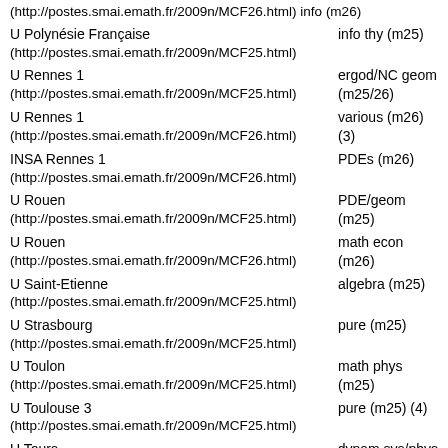(http://postes.smai.emath.fr/2009n/MCF26.html) info (m26)
U Polynésie Française info thy (m25)
(http://postes.smai.emath.fr/2009n/MCF25.html)
U Rennes 1 ergod/NC geom
(http://postes.smai.emath.fr/2009n/MCF25.html) (m25/26)
U Rennes 1 various (m26)
(http://postes.smai.emath.fr/2009n/MCF26.html) (3)
INSA Rennes 1 PDEs (m26)
(http://postes.smai.emath.fr/2009n/MCF26.html)
U Rouen PDE/geom
(http://postes.smai.emath.fr/2009n/MCF25.html) (m25)
U Rouen math econ
(http://postes.smai.emath.fr/2009n/MCF26.html) (m26)
U Saint-Etienne algebra (m25)
(http://postes.smai.emath.fr/2009n/MCF25.html)
U Strasbourg pure (m25)
(http://postes.smai.emath.fr/2009n/MCF25.html)
U Toulon math phys
(http://postes.smai.emath.fr/2009n/MCF25.html) (m25)
U Toulouse 3 pure (m25) (4)
(http://postes.smai.emath.fr/2009n/MCF25.html)
U Tours dynam sys/phys
(http://postes.smai.emath.fr/2009n/MCF25.html) (m25/29)